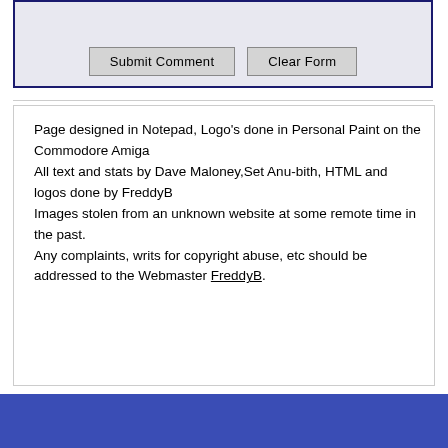[Figure (screenshot): Web form area showing Submit Comment and Clear Form buttons inside a bordered box with light blue/grey background]
Page designed in Notepad, Logo's done in Personal Paint on the Commodore Amiga
All text and stats by Dave Maloney,Set Anu-bith, HTML and logos done by FreddyB
Images stolen from an unknown website at some remote time in the past.
Any complaints, writs for copyright abuse, etc should be addressed to the Webmaster FreddyB.
[Figure (other): Blue footer bar at the bottom of the page]